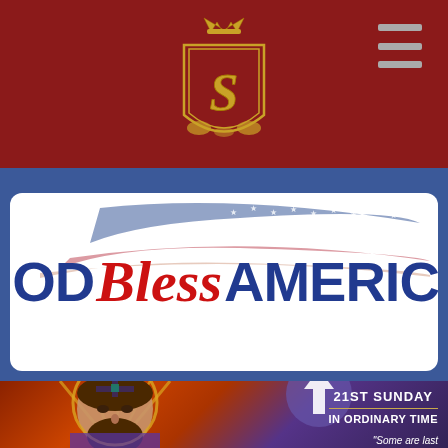[Figure (logo): Dark red header bar with a gold heraldic crest/shield logo centered, featuring a crown and 'S' monogram. Hamburger menu icon in top right corner.]
[Figure (illustration): God Bless America banner/logo on white rounded card with blue background. 'GOD' and 'AMERICA' in bold dark blue, 'Bless' in red italic script, with an American flag watercolor swoosh behind the text.]
[Figure (photo): Bottom section showing a stained glass style image of Jesus Christ on the left, and on the right against a purple/dark background: an upward arrow in a circle, text '21ST SUNDAY IN ORDINARY TIME' with a gold dividing line, and partial text 'Some are last'.]